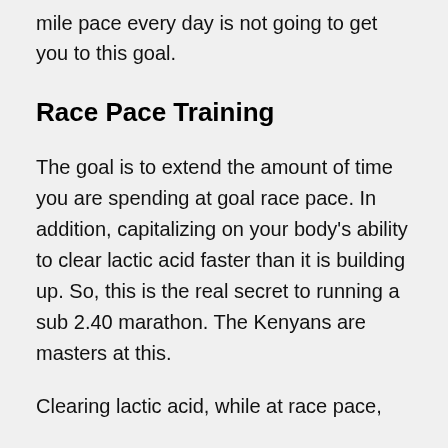mile pace every day is not going to get you to this goal.
Race Pace Training
The goal is to extend the amount of time you are spending at goal race pace. In addition, capitalizing on your body's ability to clear lactic acid faster than it is building up. So, this is the real secret to running a sub 2.40 marathon. The Kenyans are masters at this.
Clearing lactic acid, while at race pace,